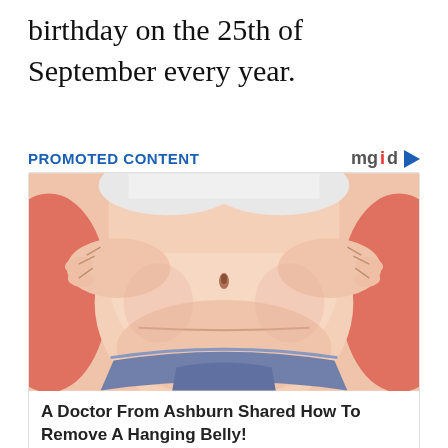birthday on the 25th of September every year.
PROMOTED CONTENT
[Figure (illustration): Cartoon illustration of an overweight person's midsection showing belly fat, wearing blue underwear, with hands on sides.]
A Doctor From Ashburn Shared How To Remove A Hanging Belly!
Keto